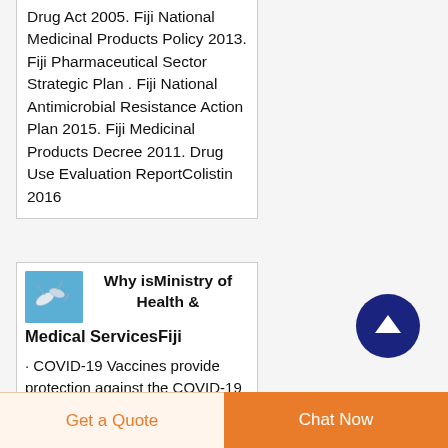Drug Act 2005. Fiji National Medicinal Products Policy 2013. Fiji Pharmaceutical Sector Strategic Plan . Fiji National Antimicrobial Resistance Action Plan 2015. Fiji Medicinal Products Decree 2011. Drug Use Evaluation ReportColistin 2016
[Figure (illustration): Small thumbnail image with blue background showing microscopic organisms]
Why isMinistry of Health & Medical ServicesFiji
· COVID-19 Vaccines provide protection against the COVID-19 disease by
[Figure (other): Dark blue circular up-arrow navigation button]
Get a Quote
Chat Now